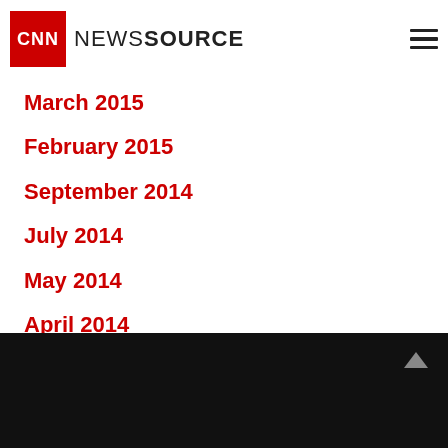CNN NEWSOURCE
March 2015
February 2015
September 2014
July 2014
May 2014
April 2014
March 2014
January 2014